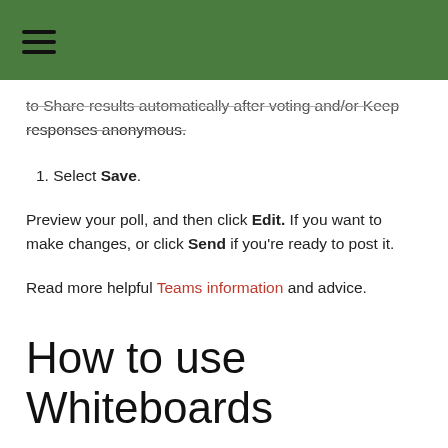≡
to Share results automatically after voting and/or Keep responses anonymous.
1. Select Save.
Preview your poll, and then click Edit. If you want to make changes, or click Send if you're ready to post it.
Read more helpful Teams information and advice.
How to use Whiteboards